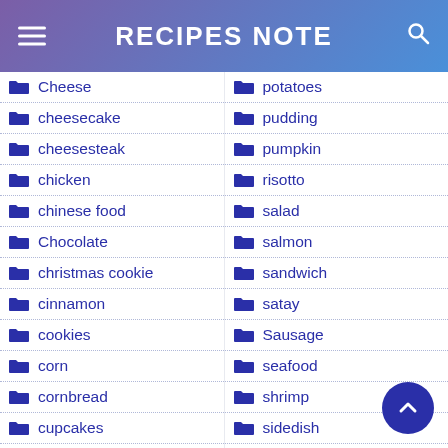RECIPES NOTE
Cheese
cheesecake
cheesesteak
chicken
chinese food
Chocolate
christmas cookie
cinnamon
cookies
corn
cornbread
cupcakes
potatoes
pudding
pumpkin
risotto
salad
salmon
sandwich
satay
Sausage
seafood
shrimp
sidedish